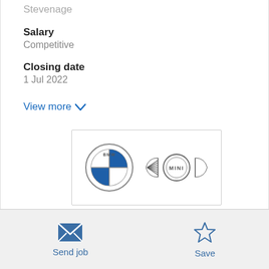Stevenage
Salary
Competitive
Closing date
1 Jul 2022
View more
[Figure (logo): BMW and MINI logos side by side inside a rectangular box]
Send job
Save